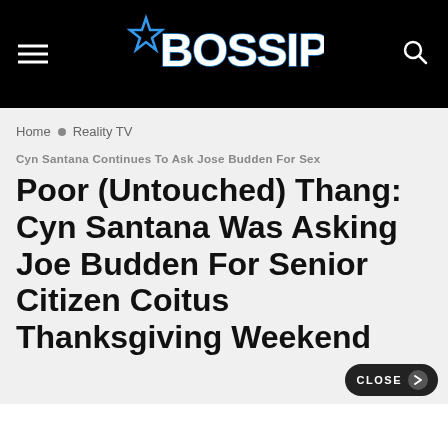BOSSIP
Home ◆ Reality TV
Cyn Santana Continues To Ask Jose Budden For Sex
Poor (Untouched) Thang: Cyn Santana Was Asking Joe Budden For Senior Citizen Coitus Thanksgiving Weekend